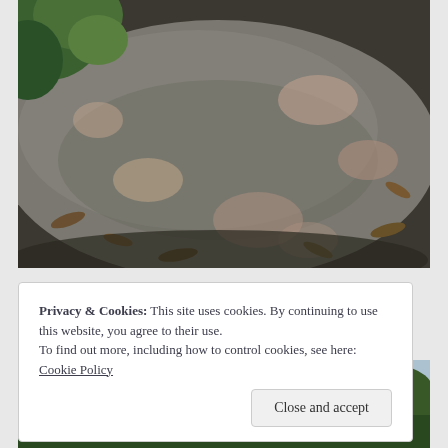[Figure (photo): Outdoor photo showing a large flat rock surface with fallen leaves and dappled light/shadow patterns. Green foliage visible in upper left corner. Dark soil and leaf litter surrounding the rock.]
Privacy & Cookies: This site uses cookies. By continuing to use this website, you agree to their use.
To find out more, including how to control cookies, see here: Cookie Policy
Close and accept
[Figure (photo): Outdoor photo showing trees and sky, partially visible behind the cookie consent banner.]